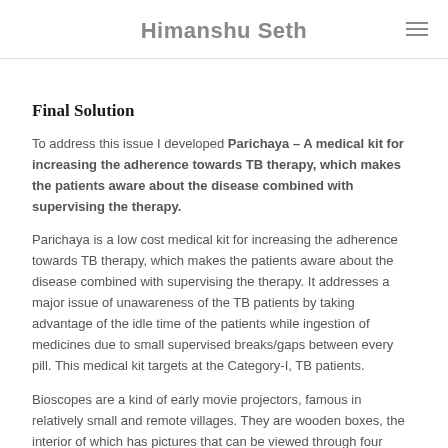Himanshu Seth
Final Solution
To address this issue I developed Parichaya – A medical kit for increasing the adherence towards TB therapy, which makes the patients aware about the disease combined with supervising the therapy.
Parichaya is a low cost medical kit for increasing the adherence towards TB therapy, which makes the patients aware about the disease combined with supervising the therapy. It addresses a major issue of unawareness of the TB patients by taking advantage of the idle time of the patients while ingestion of medicines due to small supervised breaks/gaps between every pill. This medical kit targets at the Category-I, TB patients.
Bioscopes are a kind of early movie projectors, famous in relatively small and remote villages. They are wooden boxes, the interior of which has pictures that can be viewed through four